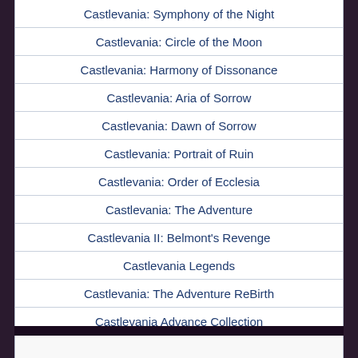Castlevania: Symphony of the Night
Castlevania: Circle of the Moon
Castlevania: Harmony of Dissonance
Castlevania: Aria of Sorrow
Castlevania: Dawn of Sorrow
Castlevania: Portrait of Ruin
Castlevania: Order of Ecclesia
Castlevania: The Adventure
Castlevania II: Belmont's Revenge
Castlevania Legends
Castlevania: The Adventure ReBirth
Castlevania Advance Collection